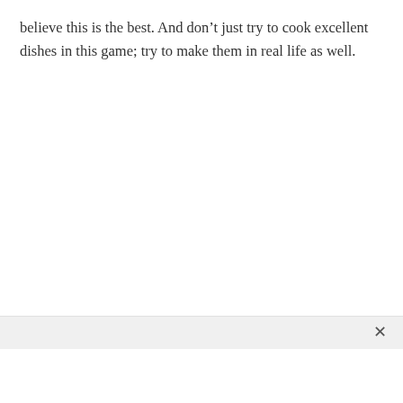believe this is the best. And don't just try to cook excellent dishes in this game; try to make them in real life as well.